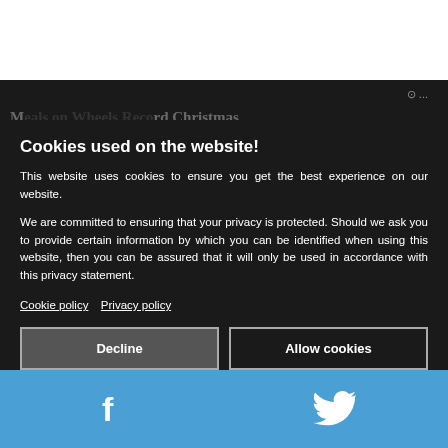[Figure (screenshot): Dark background of website article page partially visible behind cookie consent overlay]
Cookies used on the website!
This website uses cookies to ensure you get the best experience on our website.
We are committed to ensuring that your privacy is protected. Should we ask you to provide certain information by which you can be identified when using this website, then you can be assured that it will only be used in accordance with this privacy statement.
Cookie policy   Privacy policy
Decline
Allow cookies
[Figure (other): Blue social media share bar with Facebook and Twitter icons]